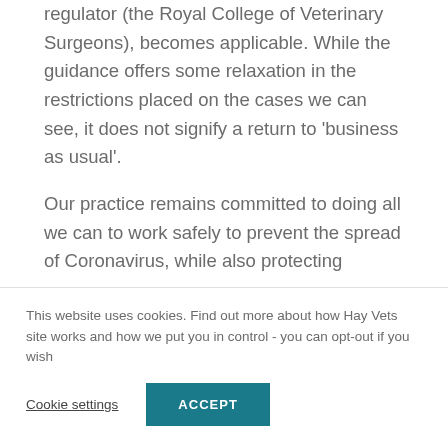regulator (the Royal College of Veterinary Surgeons), becomes applicable. While the guidance offers some relaxation in the restrictions placed on the cases we can see, it does not signify a return to 'business as usual'.
Our practice remains committed to doing all we can to work safely to prevent the spread of Coronavirus, while also protecting
This website uses cookies. Find out more about how Hay Vets site works and how we put you in control - you can opt-out if you wish